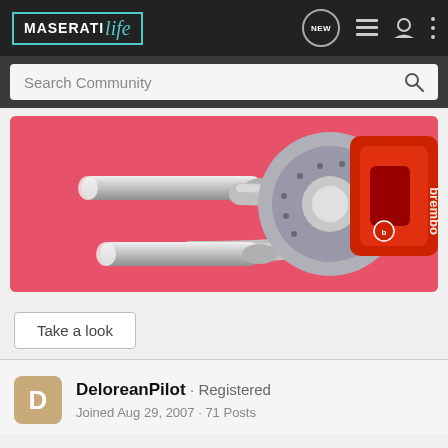MASERATIlife
[Figure (screenshot): Search Community bar with magnifying glass icon]
[Figure (photo): Pink background banner showing chrome exhaust pipes on the left and a red Brembo brake caliper with drilled disc on the right]
Take a look
DeloreanPilot · Registered
Joined Aug 29, 2007 · 71 Posts